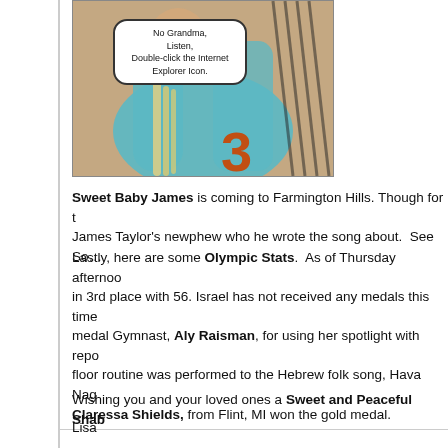[Figure (photo): Photo of a child wearing a teal jersey with the number 3, with a speech bubble overlay reading: No Grandma, Listen, Double-click the Internet Explorer Icon.]
Sweet Baby James is coming to Farmington Hills. Though for t... James Taylor's newphew who he wrote the song about.  See So...
Lastly, here are some Olympic Stats.  As of Thursday afterno... in 3rd place with 56. Israel has not received any medals this time... medal Gymnast, Aly Raisman, for using her spotlight with repo... floor routine was performed to the Hebrew folk song, Hava Nag... Claressa Shields, from Flint, MI won the gold medal.
Wishing you and your loved ones a Sweet and Peaceful Shab...
Lisa